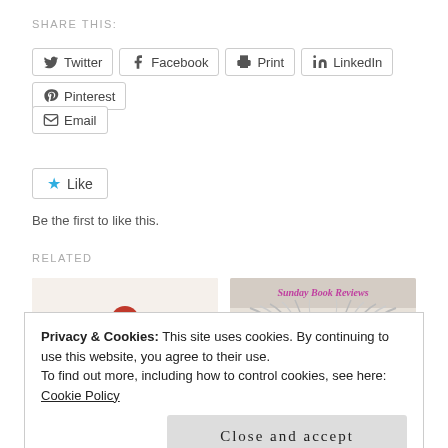SHARE THIS:
Twitter
Facebook
Print
LinkedIn
Pinterest
Email
Like
Be the first to like this.
RELATED
[Figure (illustration): Illustrated cartoon girl with red hair reading a book]
[Figure (photo): Book pages folded into a heart shape with text Sunday Book Reviews]
Privacy & Cookies: This site uses cookies. By continuing to use this website, you agree to their use.
To find out more, including how to control cookies, see here: Cookie Policy
Close and accept
January 24, 2021
September 10, 2017